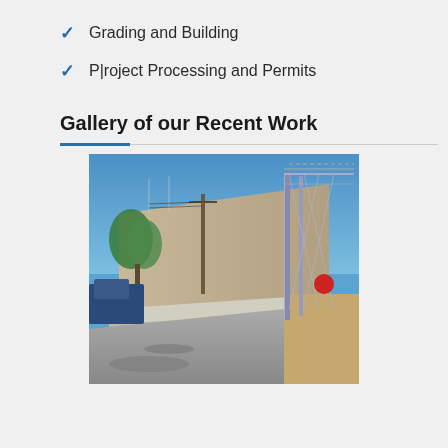Grading and Building
Project Processing and Permits
Gallery of our Recent Work
[Figure (photo): Outdoor photo of a long concrete retaining wall with a chain-link fence on top, running alongside a paved path. Clear blue sky, utility poles, trees and vehicles visible on the left side, dirt and red signage on the right side.]